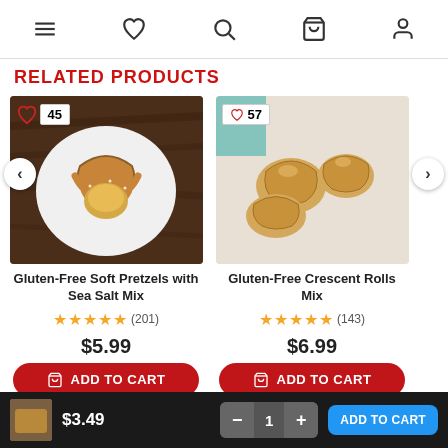Navigation bar with menu, heart, search, bag, and user icons
RELATED PRODUCTS
[Figure (photo): Gluten-Free Soft Pretzels with Sea Salt Mix product photo, showing pretzels arranged on a white plate with a yellow dipping sauce, on a dark wood background. Badge shows 45.]
Gluten-Free Soft Pretzels with Sea Salt Mix
★★★★★ (201)
$5.99
ADD TO CART
[Figure (photo): Gluten-Free Crescent Rolls Mix product photo, showing golden crescent rolls on a white surface with a holiday-themed background. Badge shows 57.]
Gluten-Free Crescent Rolls Mix
★★★★★ (143)
$6.99
ADD TO CART
$3.49  −  1  +  ADD TO CART